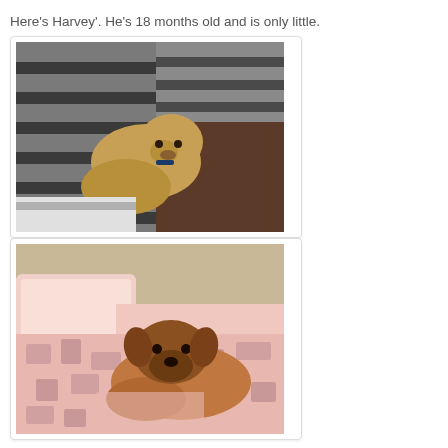Here's Harvey'. He's 18 months old and is only little.
[Figure (photo): A small light-brown dog curled up between striped grey and white pillows/bedding on a bed]
[Figure (photo): A small tan/brown dog lying in bed surrounded by pink floral bedding and a light pink pillow]